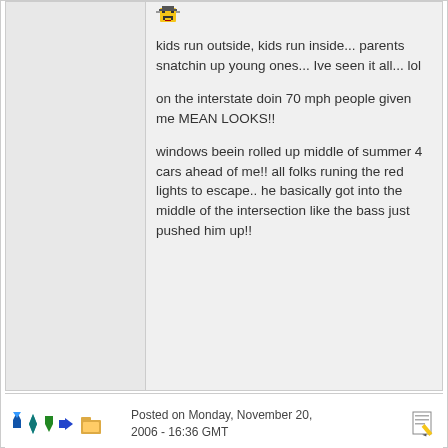[Figure (illustration): Small pixel-art emoji/smiley icon at top of post]
kids run outside, kids run inside... parents snatchin up young ones... Ive seen it all... lol

on the interstate doin 70 mph people given me MEAN LOOKS!!

windows beein rolled up middle of summer 4 cars ahead of me!! all folks runing the red lights to escape.. he basically got into the middle of the intersection like the bass just pushed him up!!
[Figure (illustration): Navigation/action pixel-art icons (arrows, folder) at bottom left]
Posted on Monday, November 20, 2006 - 16:36 GMT
[Figure (illustration): Edit/pencil icon at bottom right]